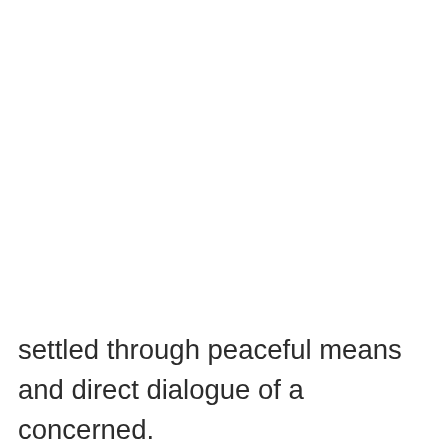settled through peaceful means and direct dialogue of all parties concerned. 45. We firmly support the Joint Comprehensive Plan of Action on the Iranian nuclear issue and call upon all relevant parties to fully with their obligations and ensure full and effective implementation of the JCPOA to promote international and regional peace. 46. We commend the efforts of African countries, the African Union, sub-regional organizations in addressing regional issues and maintaining regional peace and security, and emphasize the importance of collaboration between the United Nations and African Union in accordance with the Charter of the United Nations, to support efforts towards comprehensively resolving the...